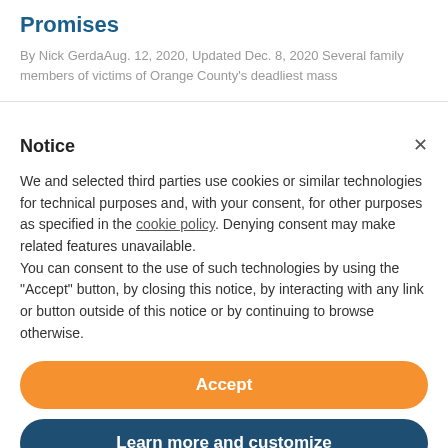Promises
By Nick GerdaAug. 12, 2020, Updated Dec. 8, 2020 Several family members of victims of Orange County's deadliest mass
Notice
We and selected third parties use cookies or similar technologies for technical purposes and, with your consent, for other purposes as specified in the cookie policy. Denying consent may make related features unavailable.
You can consent to the use of such technologies by using the "Accept" button, by closing this notice, by interacting with any link or button outside of this notice or by continuing to browse otherwise.
Accept
Learn more and customize